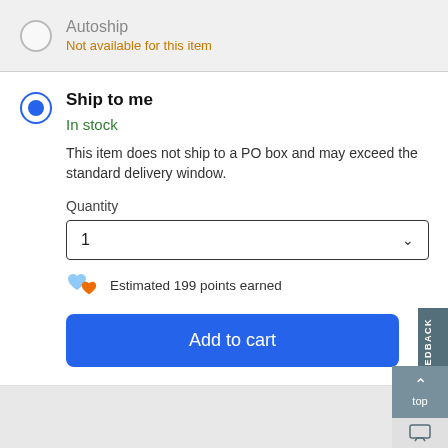Autoship
Not available for this item
Ship to me
In stock
This item does not ship to a PO box and may exceed the standard delivery window.
Quantity
1
Estimated 199 points earned
Add to cart